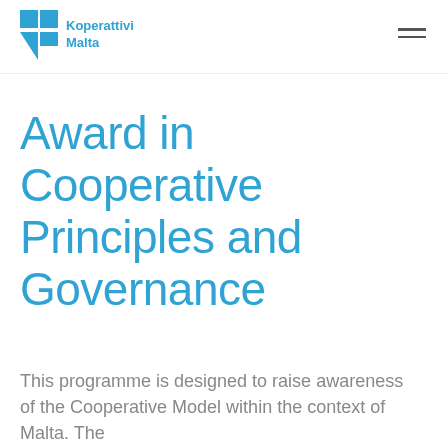Koperattivi Malta
Award in Cooperative Principles and Governance
This programme is designed to raise awareness of the Cooperative Model within the context of Malta. The